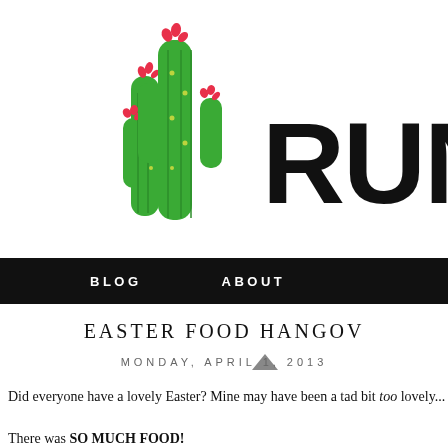[Figure (logo): Illustrated cactus with three green cacti and red flowers on top, next to bold text 'RUNf...' (partially visible)]
BLOG   ABOUT
EASTER FOOD HANGOV...
MONDAY, APRIL 1, 2013
Did everyone have a lovely Easter? Mine may have been a tad bit too lovely...
There was SO MUCH FOOD!